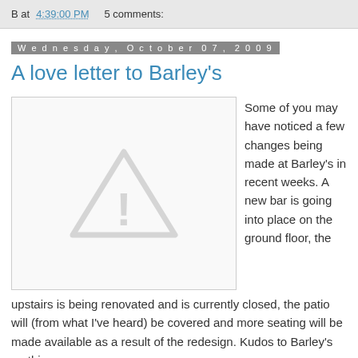B at 4:39:00 PM   5 comments:
Wednesday, October 07, 2009
A love letter to Barley's
[Figure (illustration): Placeholder image with warning/exclamation triangle icon in gray]
Some of you may have noticed a few changes being made at Barley's in recent weeks. A new bar is going into place on the ground floor, the upstairs is being renovated and is currently closed, the patio will (from what I've heard) be covered and more seating will be made available as a result of the redesign. Kudos to Barley's on this....